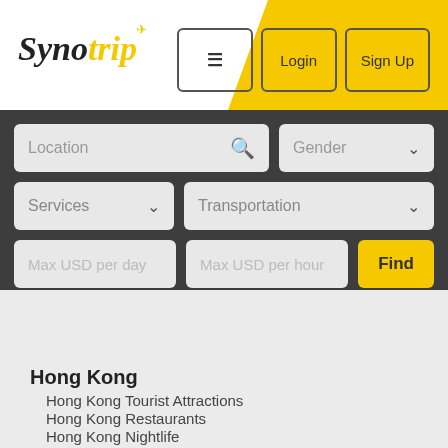[Figure (logo): Synotrip logo with yellow 'trip' text and plane icon]
[Figure (screenshot): Navigation buttons: hamburger menu, Login, Sign Up on yellow background]
[Figure (screenshot): Search form with Location, Gender, Services, Transportation, Max USD per day, Max USD per hour fields and Find button]
Hong Kong
Hong Kong Tourist Attractions
Hong Kong Restaurants
Hong Kong Nightlife
Hong Kong Shopping